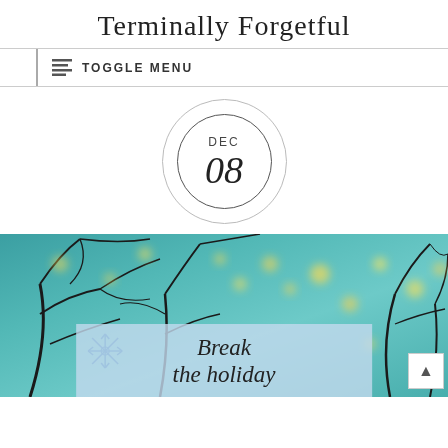Terminally Forgetful
TOGGLE MENU
DEC 08
[Figure (photo): Holiday blog post image with teal bokeh background, tree branches, fairy lights, and a semi-transparent overlay reading 'Break the holiday']